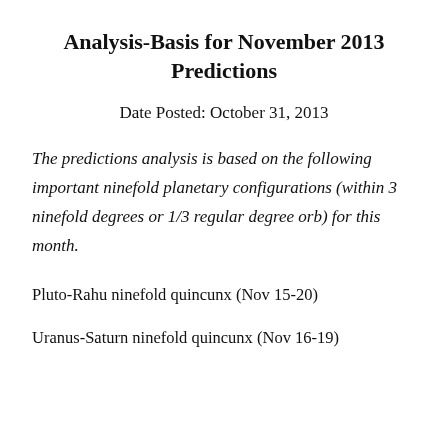Analysis-Basis for November 2013 Predictions
Date Posted: October 31, 2013
The predictions analysis is based on the following important ninefold planetary configurations (within 3 ninefold degrees or 1/3 regular degree orb) for this month.
Pluto-Rahu ninefold quincunx (Nov 15-20)
Uranus-Saturn ninefold quincunx (Nov 16-19)